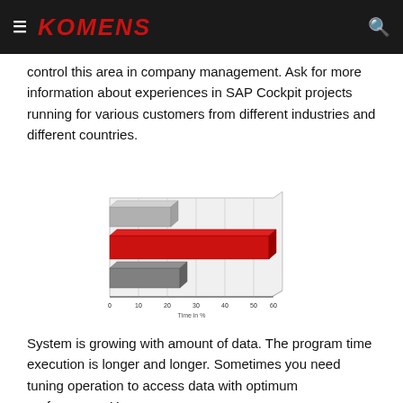KOMENS
control this area in company management. Ask for more information about experiences in SAP Cockpit projects running for various customers from different industries and different countries.
[Figure (bar-chart): ]
System is growing with amount of data. The program time execution is longer and longer. Sometimes you need tuning operation to access data with optimum performance. Years